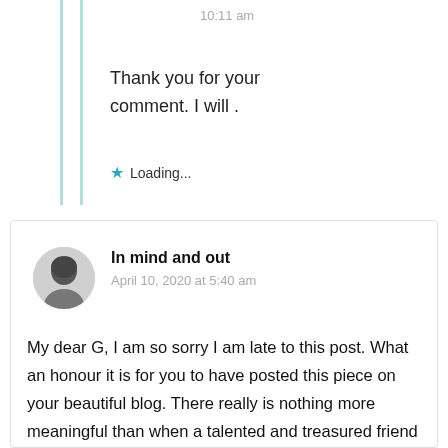10:11 am
Thank you for your comment. I will .
★ Loading...
In mind and out
April 10, 2020 at 5:40 am
My dear G, I am so sorry I am late to this post. What an honour it is for you to have posted this piece on your beautiful blog. There really is nothing more meaningful than when a talented and treasured friend